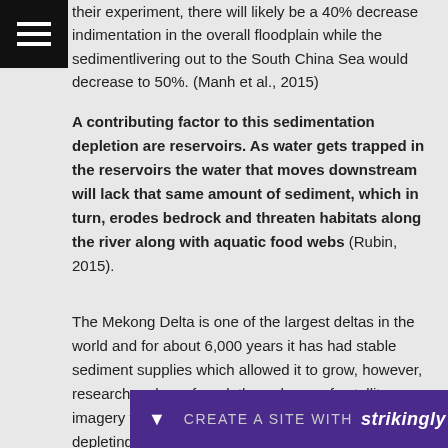their experiment, there will likely be a 40% decrease in sedimentation in the overall floodplain while the sediment delivering out to the South China Sea would decrease to 50%. (Manh et al., 2015)
A contributing factor to this sedimentation depletion are reservoirs. As water gets trapped in the reservoirs the water that moves downstream will lack that same amount of sediment, which in turn, erodes bedrock and threaten habitats along the river along with aquatic food webs (Rubin, 2015).
The Mekong Delta is one of the largest deltas in the world and for about 6,000 years it has had stable sediment supplies which allowed it to grow, however, researchers have found, through use of satellite imagery that from 2003 to 2011, the sediment is depleting. (Anthony, 2013) In fact, researchers have found that the sediment... average of 4.4... delta this re... on